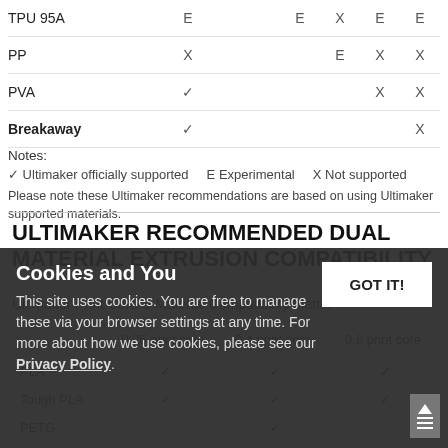| Material | Col1 | Col2 | Col3 | Col4 | Col5 |
| --- | --- | --- | --- | --- | --- |
| TPU 95A | E |  |  | E | X | E | E |
| PP | X |  |  |  | E | X | X |
| PVA | ✓ |  |  |  |  | X | X |
| Breakaway | ✓ |  |  |  |  |  | X |
Notes:
✓ Ultimaker officially supported    E Experimental    X Not supported
Please note these Ultimaker recommendations are based on using Ultimaker supported materials.
ULTIMAKER RECOMMENDED DUAL MATERIAL EXTRUSION COMPATIBILITY
Ultimaker Print Core & Material Compatibility Matrix
|  | 0.25 print core | 0.4 print core | 0.8 print core |
| --- | --- | --- | --- |
| PLA | ✓ | ✓ | ✓ |
| Tough PLA | ✓ | ✓ | ✓ |
| PETG |  | ✓ |  |
| ABS |  | ✓ | ✓ |
| CPE | ✓ | ✓ | ✓ |
| Nylon | ✓ | ✓ | ✓ |
Cookies and You
This site uses cookies. You are free to manage these via your browser settings at any time. For more about how we use cookies, please see our Privacy Policy.
GOT IT!